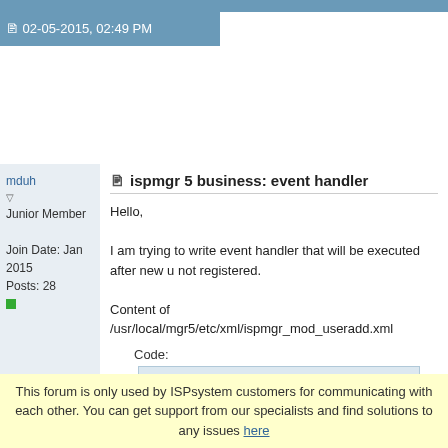02-05-2015, 02:49 PM
mduh
Junior Member
Join Date: Jan 2015
Posts: 28
ispmgr 5 business: event handler
Hello,

I am trying to write event handler that will be executed after new user is registered.

Content of /usr/local/mgr5/etc/xml/ispmgr_mod_useradd.xml
Code:
<?xml version="1.0" encoding="UTF-8"?>
<mgrdata>
   <handler name="uh-useradd.php" type="cgi">
      <event after="yes">user.add</event>
   </handler>
</mgrdata>
Content of /usr/local/mgr5/addon/uh-useradd.php
Code:
#!/usr/bin/php.cgi
This forum is only used by ISPsystem customers for communicating with each other. You can get support from our specialists and find solutions to any issues here